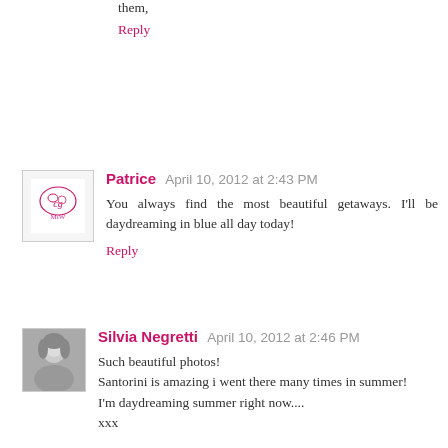them,
Reply
Patrice  April 10, 2012 at 2:43 PM
You always find the most beautiful getaways. I'll be daydreaming in blue all day today!
Reply
Silvia Negretti  April 10, 2012 at 2:46 PM
Such beautiful photos!
Santorini is amazing i went there many times in summer!
I'm daydreaming summer right now....
xxx

S
http://s-fashion-avenue.blogspot.com
Reply